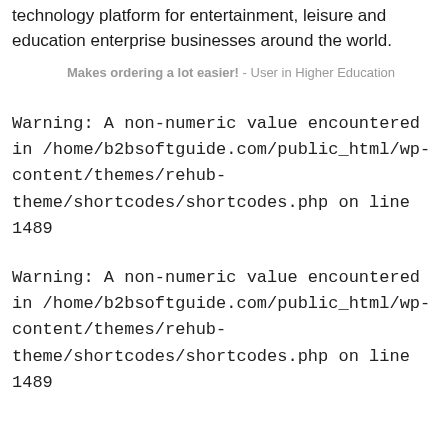technology platform for entertainment, leisure and education enterprise businesses around the world.
Makes ordering a lot easier! - User in Higher Education
Warning: A non-numeric value encountered in /home/b2bsoftguide.com/public_html/wp-content/themes/rehub-theme/shortcodes/shortcodes.php on line 1489
Warning: A non-numeric value encountered in /home/b2bsoftguide.com/public_html/wp-content/themes/rehub-theme/shortcodes/shortcodes.php on line 1489